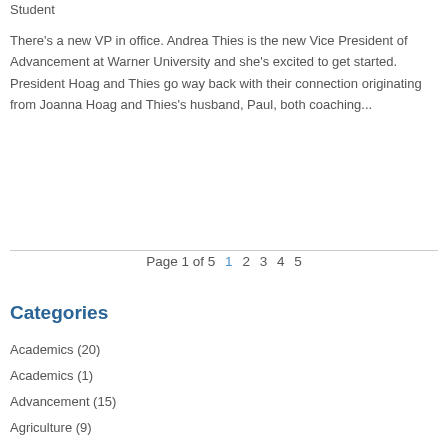Student
There's a new VP in office. Andrea Thies is the new Vice President of Advancement at Warner University and she's excited to get started. President Hoag and Thies go way back with their connection originating from Joanna Hoag and Thies's husband, Paul, both coaching...
Page 1 of 5  1  2  3  4  5
Categories
Academics (20)
Academics (1)
Advancement (15)
Agriculture (9)